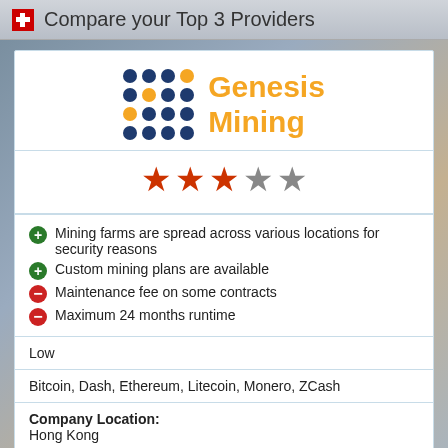Compare your Top 3 Providers
[Figure (logo): Genesis Mining logo with dot grid pattern and orange text]
[Figure (other): 3 out of 5 stars rating (3 filled red stars, 2 empty gray stars)]
Mining farms are spread across various locations for security reasons
Custom mining plans are available
Maintenance fee on some contracts
Maximum 24 months runtime
Low
Bitcoin, Dash, Ethereum, Litecoin, Monero, ZCash
Company Location:
Hong Kong
Working since:
2013